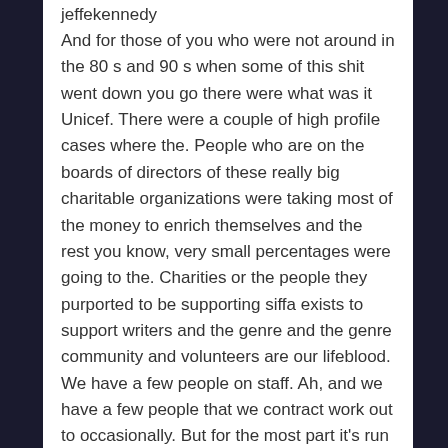jeffekennedy
And for those of you who were not around in the 80 s and 90 s when some of this shit went down you go there were what was it Unicef. There were a couple of high profile cases where the. People who are on the boards of directors of these really big charitable organizations were taking most of the money to enrich themselves and the rest you know, very small percentages were going to the. Charities or the people they purported to be supporting siffa exists to support writers and the genre and the genre community and volunteers are our lifeblood. We have a few people on staff. Ah, and we have a few people that we contract work out to occasionally. But for the most part it's run by